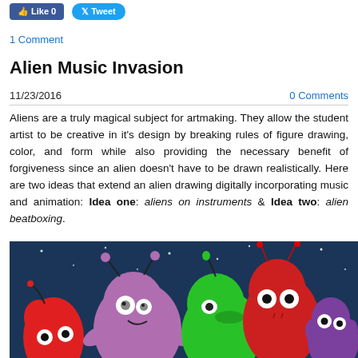[Figure (other): Facebook Like button and Twitter Tweet button social sharing buttons]
1 Comment
Alien Music Invasion
11/23/2016
0 Comments
Aliens are a truly magical subject for artmaking. They allow the student artist to be creative in it's design by breaking rules of figure drawing, color, and form while also providing the necessary benefit of forgiveness since an alien doesn't have to be drawn realistically. Here are two ideas that extend an alien drawing digitally incorporating music and animation: Idea one: aliens on instruments & Idea two: alien beatboxing.
[Figure (illustration): Cartoon illustration of colorful alien characters including red, purple, green, and small purple aliens on a dark blue night sky background with stars]